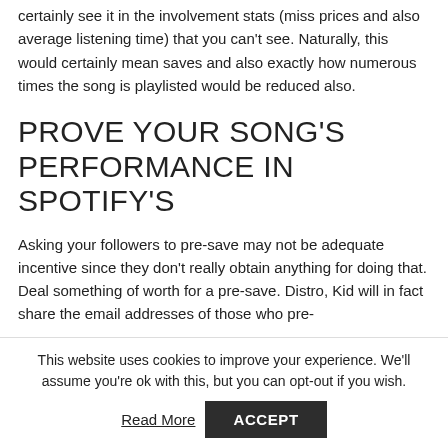certainly see it in the involvement stats (miss prices and also average listening time) that you can't see. Naturally, this would certainly mean saves and also exactly how numerous times the song is playlisted would be reduced also.
PROVE YOUR SONG'S PERFORMANCE IN SPOTIFY'S
Asking your followers to pre-save may not be adequate incentive since they don't really obtain anything for doing that. Deal something of worth for a pre-save. Distro, Kid will in fact share the email addresses of those who pre-
This website uses cookies to improve your experience. We'll assume you're ok with this, but you can opt-out if you wish.
Read More   ACCEPT